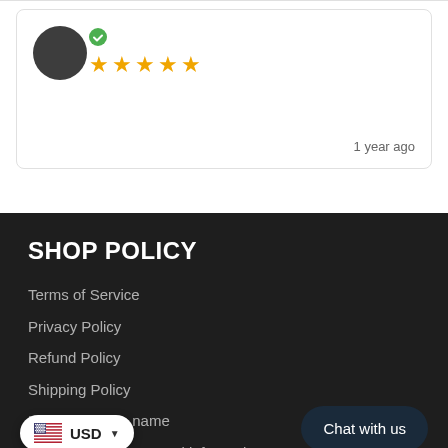[Figure (other): User review card with dark circular avatar, green checkmark icon, five gold stars rating, and '1 year ago' timestamp in the bottom right corner]
SHOP POLICY
Terms of Service
Privacy Policy
Refund Policy
Shipping Policy
Legal bussines name
Do not sell my personal information
[Figure (other): US flag icon with USD currency selector dropdown button]
Chat with us